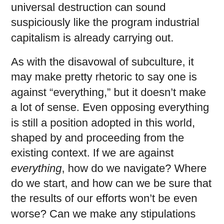universal destruction can sound suspiciously like the program industrial capitalism is already carrying out.
As with the disavowal of subculture, it may make pretty rhetoric to say one is against “everything,” but it doesn’t make a lot of sense. Even opposing everything is still a position adopted in this world, shaped by and proceeding from the existing context. If we are against everything, how do we navigate? Where do we start, and how can we be sure that the results of our efforts won’t be even worse? Can we make any stipulations about which direction to set out in at all?
It makes more sense, and is more honest, to say that we side with some existing beings and currents against others, and hope by doing so to effect a total transformation of the world. Not only does this